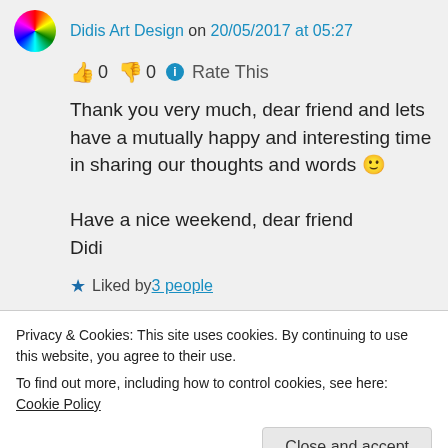Didis Art Design on 20/05/2017 at 05:27
👍 0 👎 0 ℹ Rate This
Thank you very much, dear friend and lets have a mutually happy and interesting time in sharing our thoughts and words 🙂

Have a nice weekend, dear friend
Didi
★ Liked by 3 people
Log in to Reply
Privacy & Cookies: This site uses cookies. By continuing to use this website, you agree to their use.
To find out more, including how to control cookies, see here: Cookie Policy
Close and accept
you too, dear Didi 🙂